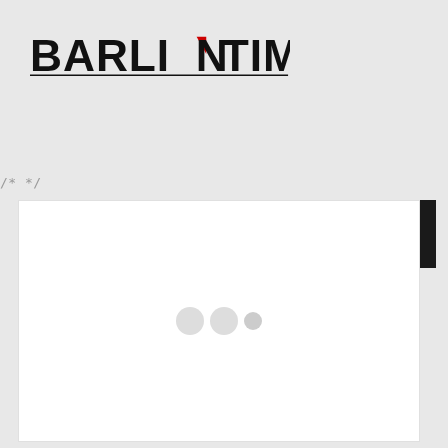[Figure (logo): BARLINTIMES logo with bold black uppercase text and a red triangle accent on the letter N]
[Figure (screenshot): Dark navigation bar with hamburger menu icon on left and search icon on right, separated by a dark panel]
/* */
[Figure (screenshot): White content card with loading indicator showing three grey dots in the center]